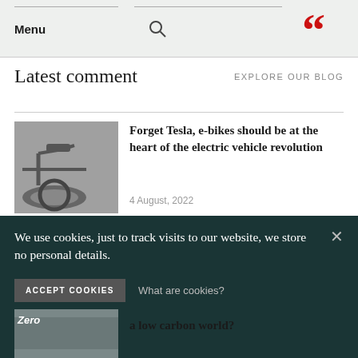Menu | [search icon] | [quote icon]
Latest comment
EXPLORE OUR BLOG
[Figure (photo): Black and white photo of a bicycle handlebar and frame]
Forget Tesla, e-bikes should be at the heart of the electric vehicle revolution
4 August, 2022
[Figure (photo): Black and white photo, partial view of a vehicle or object]
I'm glad it's so hot
3 August, 2022
We use cookies, just to track visits to our website, we store no personal details.
ACCEPT COOKIES   What are cookies?
[Figure (photo): Black and white photo with 'Zero' text overlay]
a low carbon world?